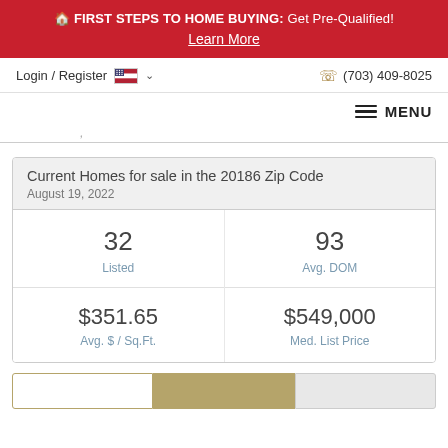FIRST STEPS TO HOME BUYING: Get Pre-Qualified! Learn More
Login / Register  (703) 409-8025
MENU
Current Homes for sale in the 20186 Zip Code
August 19, 2022
| Metric | Value |
| --- | --- |
| Listed | 32 |
| Avg. DOM | 93 |
| Avg. $ / Sq.Ft. | $351.65 |
| Med. List Price | $549,000 |